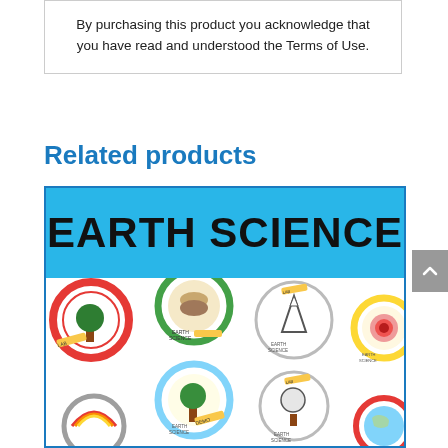By purchasing this product you acknowledge that you have read and understood the Terms of Use.
Related products
[Figure (illustration): Earth Science product cover image featuring a blue banner with 'EARTH SCIENCE' in bold black text, and a white lower section showing various circular Earth Science lab and demo badge illustrations.]